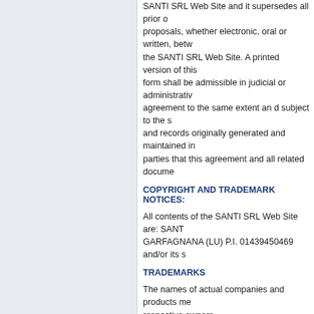SANTI SRL Web Site and it supersedes all prior or proposals, whether electronic, oral or written, betw the SANTI SRL Web Site. A printed version of this form shall be admissible in judicial or administrativ agreement to the same extent an d subject to the s and records originally generated and maintained in parties that this agreement and all related docume
COPYRIGHT AND TRADEMARK NOTICES:
All contents of the SANTI SRL Web Site are: SANT GARFAGNANA (LU) P.I. 01439450469 and/or its s
TRADEMARKS
The names of actual companies and products me respective owners.
The example companies, organizations, products, fictitious. No association with any real company, o intended or should be inferred.
Any rights not expressly granted herein are reserv
NOTICES AND PROCEDURE FOR MAKING CLA
Pursuant to Title 17, United States Code, Section 5 infringement under United States copyright law sh Agent. ALL INQUIRIES NOT RELEVANT TO THE NO RESPONSE. See Notice and Procedure for M